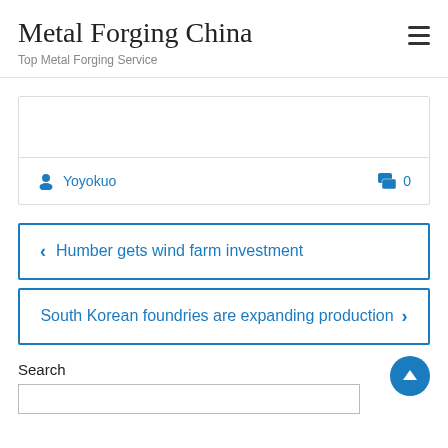Metal Forging China
Top Metal Forging Service
Yoyokuo
0
‹ Humber gets wind farm investment
South Korean foundries are expanding production ›
Search